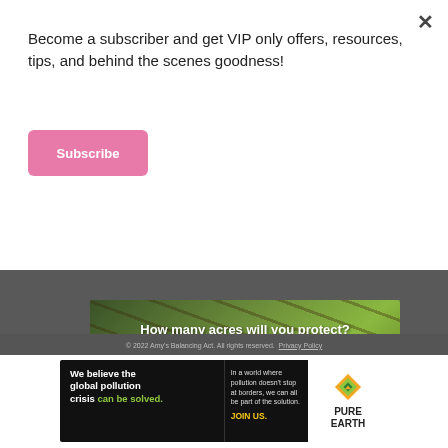Become a subscriber and get VIP only offers, resources, tips, and behind the scenes goodness!
Subscribe
[Figure (infographic): Forest protection advertisement showing green forest/bamboo background with text 'How many acres will you protect?' and a green button 'PROTECT FORESTS NOW']
© 2022 Amy's Balancing Act. All rights reserved. Privacy Policy
[Figure (infographic): Pure Earth advertisement with black left panel saying 'We believe the global pollution crisis can be solved.' in white text with 'can be solved.' in green, middle panel with text 'In a world where pollution doesn't stop at borders, we can all be part of the solution. JOIN US.' and right panel showing Pure Earth diamond logo and brand name.]